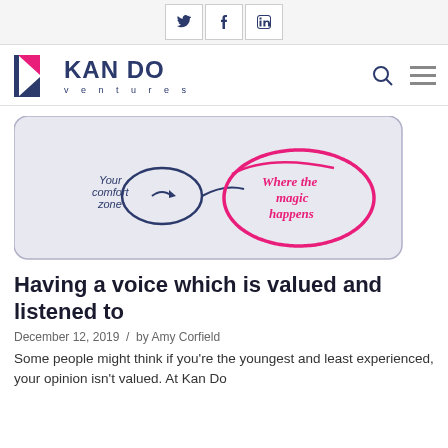Twitter / Facebook / LinkedIn social share icons
[Figure (logo): Kan Do Ventures logo with stylized K triangle mark in pink and navy, company name KAN DO in bold navy, ventures in spaced letters below]
[Figure (illustration): Motivational illustration showing 'Your comfort zone' as a small dark navy oval with arrow, and 'Where the magic happens' in pink cursive text inside a large pink hand-drawn oval, on a light lavender rounded rectangle background]
Having a voice which is valued and listened to
December 12, 2019 / by Amy Corfield
Some people might think if you're the youngest and least experienced, your opinion isn't valued. At Kan Do